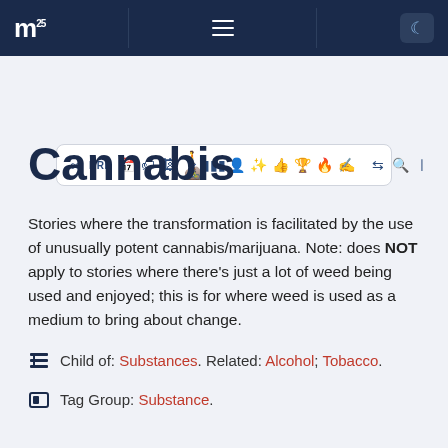m [logo] [menu] [moon icon]
[Figure (other): Toolbar with icons: infinity, BRK, calendar, tag, image, people, columns, person, sparkle, like, trophy, fire, pencil, shuffle, search, list]
Cannabis
Stories where the transformation is facilitated by the use of unusually potent cannabis/marijuana. Note: does NOT apply to stories where there's just a lot of weed being used and enjoyed; this is for where weed is used as a medium to bring about change.
Child of: Substances. Related: Alcohol; Tobacco.
Tag Group: Substance.